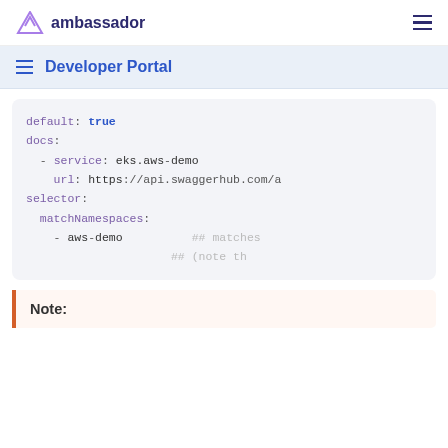ambassador
Developer Portal
default: true
docs:
  - service: eks.aws-demo
    url: https://api.swaggerhub.com/a
selector:
  matchNamespaces:
    - aws-demo     ## matches
                   ## (note th
Note: